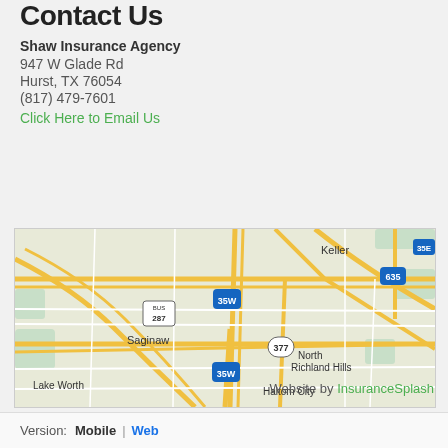Contact Us
Shaw Insurance Agency
947 W Glade Rd
Hurst, TX 76054
(817) 479-7601
Click Here to Email Us
REVIEW US
[Figure (map): Google Maps view showing Dallas-Fort Worth area including Keller, Southlake, Coppell, Saginaw, North Richland Hills, Euless, Irving, Haltom City, Lake Worth with highway routes 35W, 35E, 114, 121, 360, 377, 287, 635]
Website by InsuranceSplash
Version: Mobile | Web